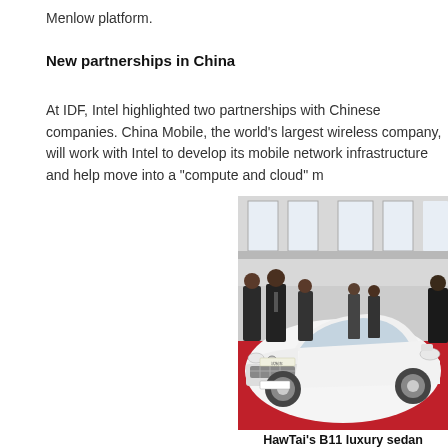Menlow platform.
New partnerships in China
At IDF, Intel highlighted two partnerships with Chinese companies. China Mobile, the world's largest wireless company, will work with Intel to develop its mobile network infrastructure and help move into a "compute and cloud" m...
[Figure (photo): Photo of HawTai's B11 luxury sedan, a white car on display at an exhibition hall with a red carpet floor. Several people in dark clothing stand around the vehicle which features a prominent chrome grille with a distinctive logo.]
HawTai's B11 luxury sedan